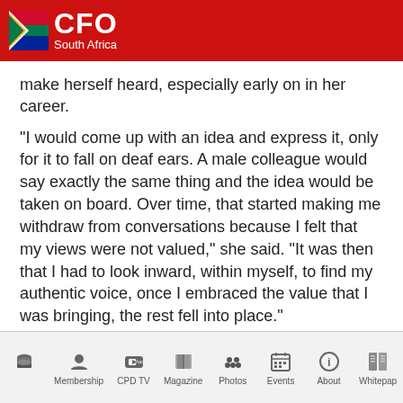CFO South Africa
make herself heard, especially early on in her career.
“I would come up with an idea and express it, only for it to fall on deaf ears. A male colleague would say exactly the same thing and the idea would be taken on board. Over time, that started making me withdraw from conversations because I felt that my views were not valued,” she said. “It was then that I had to look inward, within myself, to find my authentic voice, once I embraced the value that I was bringing, the rest fell into place.”
Home | Membership | CPD TV | Magazine | Photos | Events | About | Whitepaper